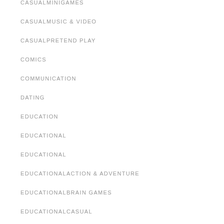CASUALMINIGAMES
CASUALMUSIC & VIDEO
CASUALPRETEND PLAY
COMICS
COMMUNICATION
DATING
EDUCATION
EDUCATIONAL
EDUCATIONAL
EDUCATIONALACTION & ADVENTURE
EDUCATIONALBRAIN GAMES
EDUCATIONALCASUAL